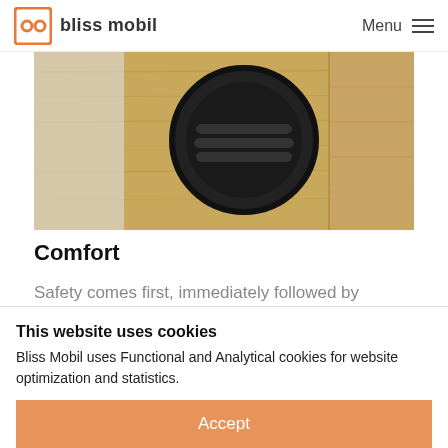bliss mobil — Menu
[Figure (photo): Close-up photo of wooden bamboo panel with a round black air vent/grille on a camper van interior]
Comfort
Safety comes first, immediately followed by comfort. A Bliss Mobil is meant to travel
This website uses cookies
Bliss Mobil uses Functional and Analytical cookies for website optimization and statistics.
Accept